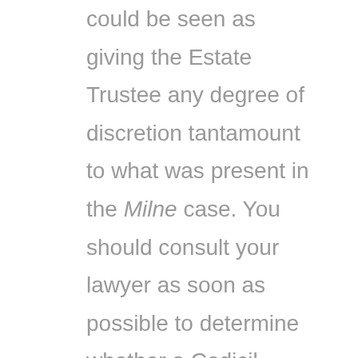could be seen as giving the Estate Trustee any degree of discretion tantamount to what was present in the Milne case. You should consult your lawyer as soon as possible to determine whether a Codicil should be prepared, at least until the appeal is heard, so that the